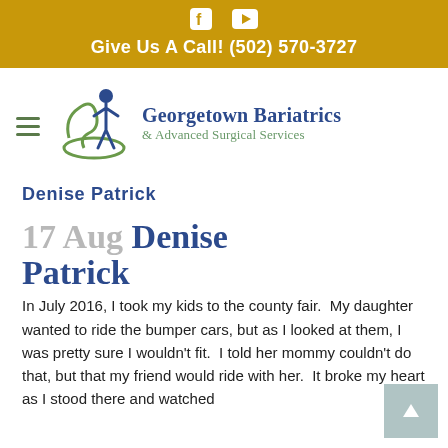Give Us A Call! (502) 570-3727
[Figure (logo): Georgetown Bariatrics & Advanced Surgical Services logo with human figure and swirl graphic]
Denise Patrick
17 Aug Denise Patrick
In July 2016, I took my kids to the county fair. My daughter wanted to ride the bumper cars, but as I looked at them, I was pretty sure I wouldn't fit. I told her mommy couldn't do that, but that my friend would ride with her. It broke my heart as I stood there and watched